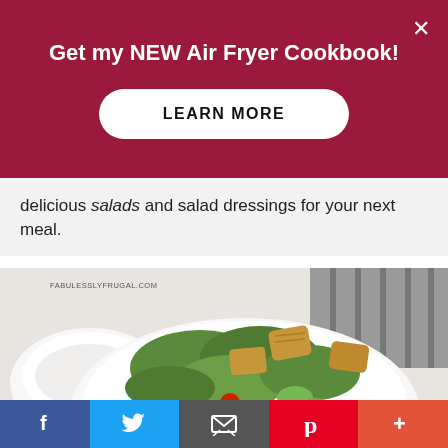Get my NEW Air Fryer Cookbook!
LEARN MORE
delicious salads and salad dressings for your next meal.
[Figure (photo): A white bowl filled with a green salad with croutons, cherry tomatoes, cucumber, and mixed greens, alongside a small bowl of dressing. Watermark reads FABULESSLYFRUGAL.COM]
f  [Twitter bird]  [email icon]  p  +